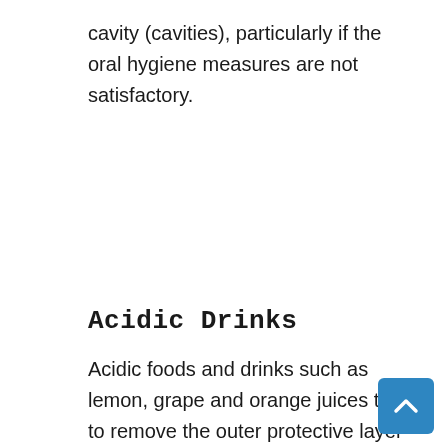cavity (cavities), particularly if the oral hygiene measures are not satisfactory.
Acidic Drinks
Acidic foods and drinks such as lemon, grape and orange juices tend to remove the outer protective layer of the teeth known as the dental enamel, which results in tooth sensitivity every time a hot or cold drink is taken. Similarly, carbonated drinks which